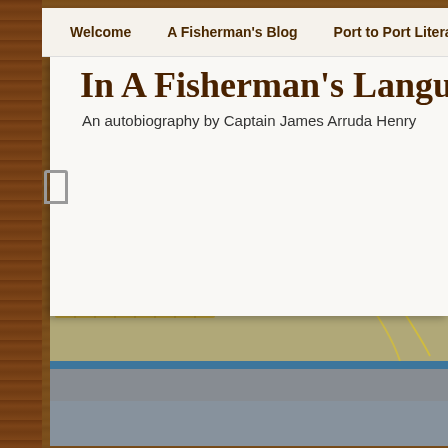Welcome    A Fisherman's Blog    Port to Port Literacy Pro…
In A Fisherman's Language
An autobiography by Captain James Arruda Henry
[Figure (photo): Stacked lobster traps on a dock, with vertical wooden plank wall in the background and a boat hull visible at the bottom]